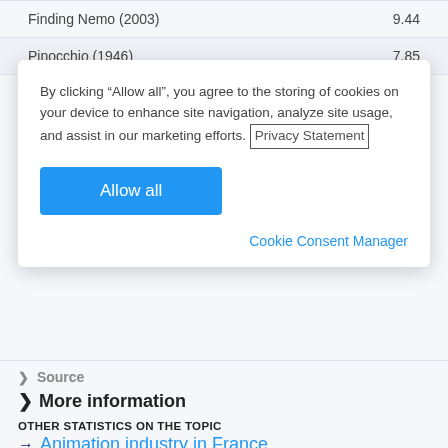| Movie | Value |
| --- | --- |
| Finding Nemo (2003) | 9.44 |
| Pinocchio (1946) | 7.85 |
By clicking “Allow all”, you agree to the storing of cookies on your device to enhance site navigation, analyze site usage, and assist in our marketing efforts. Privacy Statement
Allow all
Cookie Consent Manager
❯ Source
❯ More information
OTHER STATISTICS ON THE TOPIC
→ Animation industry in France